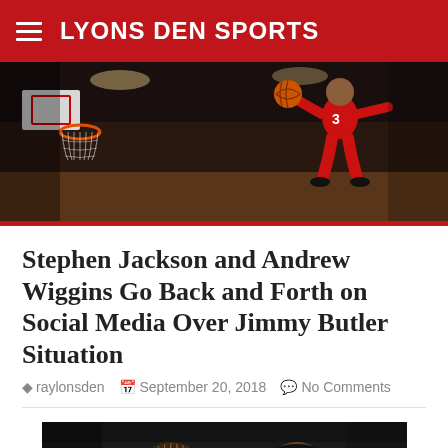LYONS DEN SPORTS
[Figure (photo): Basketball player in red number 3 jersey mid-air near the basket with orange ball, arena crowd in background]
Stephen Jackson and Andrew Wiggins Go Back and Forth on Social Media Over Jimmy Butler Situation
raylonsden  September 20, 2018  No Comments
[Figure (photo): Two NBA players close up, one with braids in white jersey and one in black jersey with tattoo on arm, black and white photo]